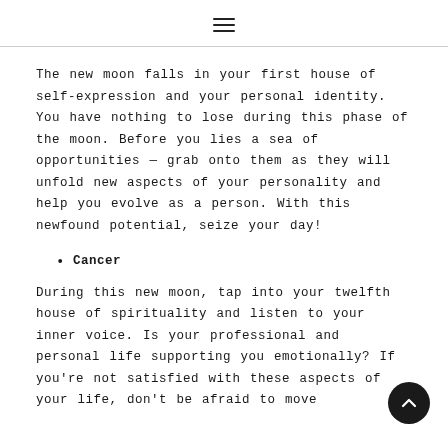☰
The new moon falls in your first house of self-expression and your personal identity. You have nothing to lose during this phase of the moon. Before you lies a sea of opportunities — grab onto them as they will unfold new aspects of your personality and help you evolve as a person. With this newfound potential, seize your day!
Cancer
During this new moon, tap into your twelfth house of spirituality and listen to your inner voice. Is your professional and personal life supporting you emotionally? If you're not satisfied with these aspects of your life, don't be afraid to move